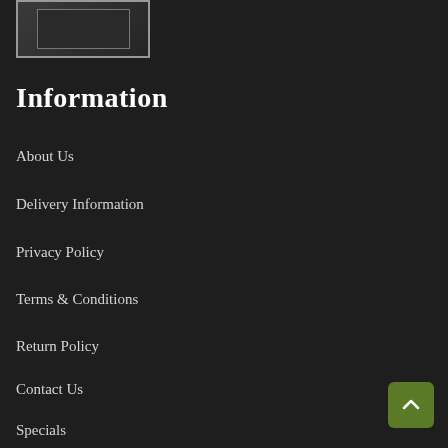[Figure (illustration): Framed decorative image thumbnail in top-left corner with grey border]
Information
About Us
Delivery Information
Privacy Policy
Terms & Conditions
Return Policy
Contact Us
Specials
[Figure (other): Green rounded square button with upward chevron arrow for scrolling to top]